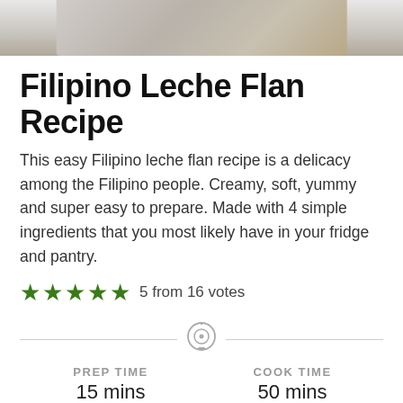[Figure (photo): Partial photo of Filipino Leche Flan dish, cropped at top]
Filipino Leche Flan Recipe
This easy Filipino leche flan recipe is a delicacy among the Filipino people. Creamy, soft, yummy and super easy to prepare. Made with 4 simple ingredients that you most likely have in your fridge and pantry.
5 from 16 votes
PREP TIME
15 mins
COOK TIME
50 mins